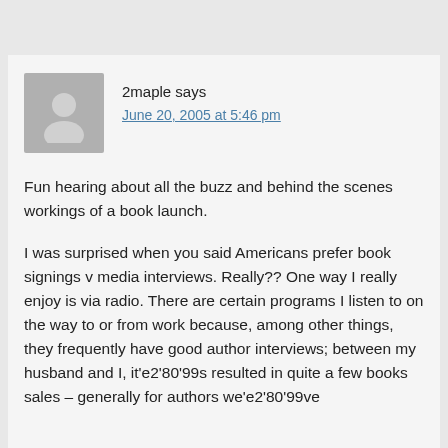[Figure (illustration): Generic user avatar icon — grey silhouette of a person on a grey background]
2maple says
June 20, 2005 at 5:46 pm
Fun hearing about all the buzz and behind the scenes workings of a book launch.
I was surprised when you said Americans prefer book signings v media interviews. Really?? One way I really enjoy is via radio. There are certain programs I listen to on the way to or from work because, among other things, they frequently have good author interviews; between my husband and I, it'e2'80'99s resulted in quite a few books sales – generally for authors we'e2'80'99ve